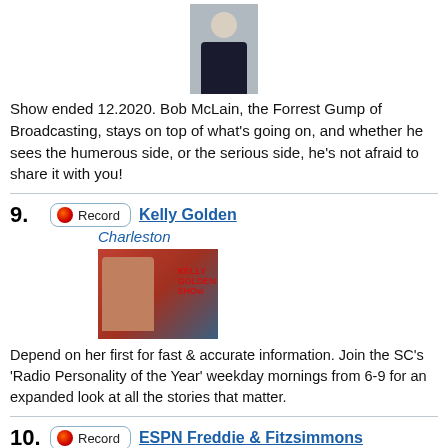[Figure (photo): Headshot of Bob McLain in suit]
Show ended 12.2020. Bob McLain, the Forrest Gump of Broadcasting, stays on top of what's going on, and whether he sees the humerous side, or the serious side, he's not afraid to share it with you!
9. Record | Kelly Golden | Charleston
[Figure (photo): Kelly Golden Show logo image with host photo]
Depend on her first for fast & accurate information. Join the SC's 'Radio Personality of the Year' weekday mornings from 6-9 for an expanded look at all the stories that matter.
10. Record | ESPN Freddie & Fitzsimmons | Bristol
[Figure (photo): ESPN Freddie and Fitzsimmons show hosts photo]